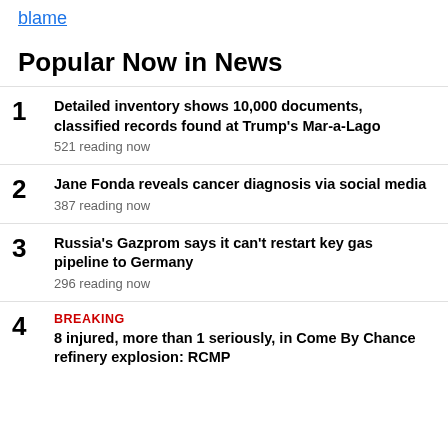blame
Popular Now in News
Detailed inventory shows 10,000 documents, classified records found at Trump's Mar-a-Lago — 521 reading now
Jane Fonda reveals cancer diagnosis via social media — 387 reading now
Russia's Gazprom says it can't restart key gas pipeline to Germany — 296 reading now
BREAKING — 8 injured, more than 1 seriously, in Come By Chance refinery explosion: RCMP